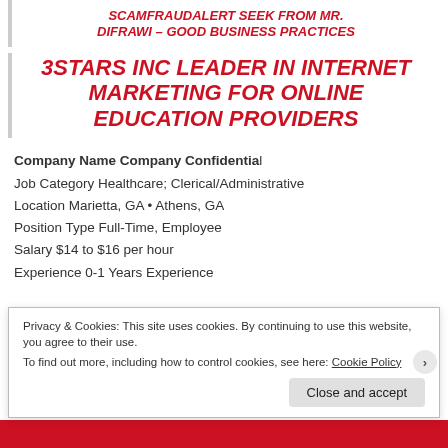SCAMFRAUDALERT SEEK FROM MR. DIFRAWI – GOOD BUSINESS PRACTICES
3STARS INC LEADER IN INTERNET MARKETING FOR ONLINE EDUCATION PROVIDERS
Company Name Company Confidential
Job Category Healthcare; Clerical/Administrative
Location Marietta, GA • Athens, GA
Position Type Full-Time, Employee
Salary $14 to $16 per hour
Experience 0-1 Years Experience
Privacy & Cookies: This site uses cookies. By continuing to use this website, you agree to their use.
To find out more, including how to control cookies, see here: Cookie Policy